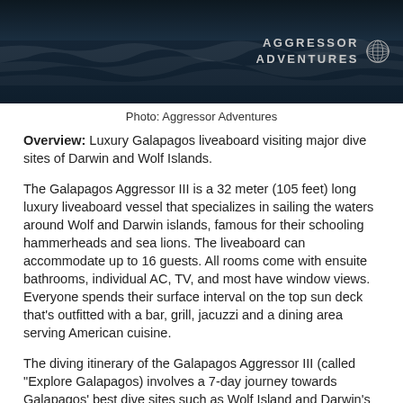[Figure (photo): Dark ocean water surface with Aggressor Adventures logo and globe icon in top right corner]
Photo: Aggressor Adventures
Overview: Luxury Galapagos liveaboard visiting major dive sites of Darwin and Wolf Islands.
The Galapagos Aggressor III is a 32 meter (105 feet) long luxury liveaboard vessel that specializes in sailing the waters around Wolf and Darwin islands, famous for their schooling hammerheads and sea lions. The liveaboard can accommodate up to 16 guests. All rooms come with ensuite bathrooms, individual AC, TV, and most have window views. Everyone spends their surface interval on the top sun deck that’s outfitted with a bar, grill, jacuzzi and a dining area serving American cuisine.
The diving itinerary of the Galapagos Aggressor III (called “Explore Galapagos) involves a 7-day journey towards Galapagos’ best dive sites such as Wolf Island and Darwin’s